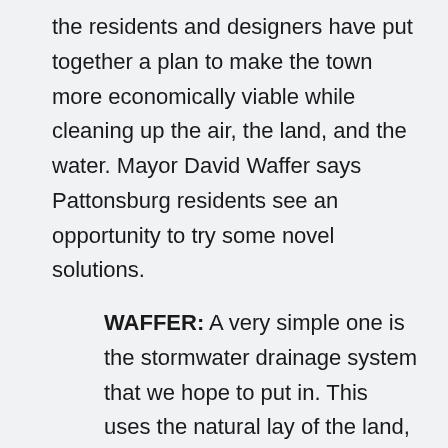the residents and designers have put together a plan to make the town more economically viable while cleaning up the air, the land, and the water. Mayor David Waffer says Pattonsburg residents see an opportunity to try some novel solutions.
WAFFER: A very simple one is the stormwater drainage system that we hope to put in. This uses the natural lay of the land, the natural streams, the natural tree lines. The lakes to filter your stormwater drain-